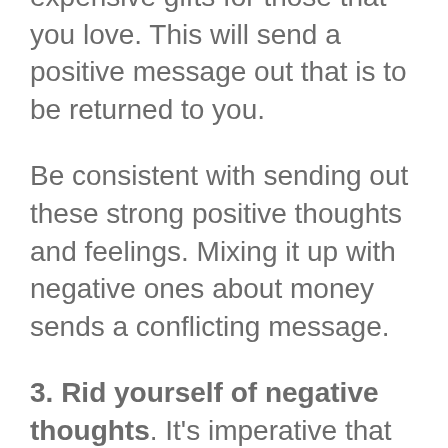your bills and buying expensive gifts for those that you love. This will send a positive message out that is to be returned to you.
Be consistent with sending out these strong positive thoughts and feelings. Mixing it up with negative ones about money sends a conflicting message.
3. Rid yourself of negative thoughts. It's imperative that you eliminate as many negative feelings as possible. Make a conscious effort to find the positive in everything because your negativity won't be rewarded with positive results.